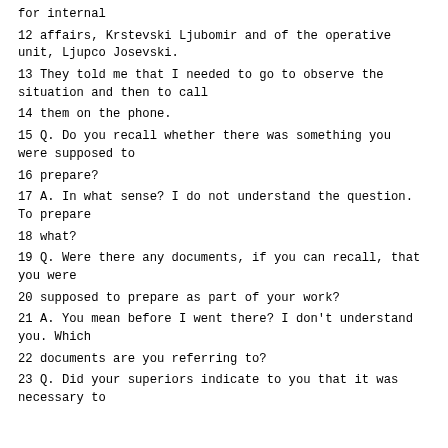for internal
12 affairs, Krstevski Ljubomir and of the operative unit, Ljupco Josevski.
13 They told me that I needed to go to observe the situation and then to call
14 them on the phone.
15 Q. Do you recall whether there was something you were supposed to
16 prepare?
17 A. In what sense? I do not understand the question. To prepare
18 what?
19 Q. Were there any documents, if you can recall, that you were
20 supposed to prepare as part of your work?
21 A. You mean before I went there? I don't understand you. Which
22 documents are you referring to?
23 Q. Did your superiors indicate to you that it was necessary to